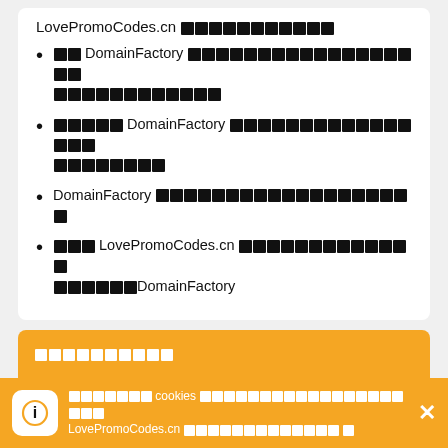LovePromoCodes.cn [CJK characters]
[CJK] DomainFactory [CJK characters]
[CJK] DomainFactory [CJK characters]
DomainFactory [CJK characters]
[CJK] LovePromoCodes.cn [CJK]DomainFactory
[CJK section header]
[CJK] DomainFactory？
[CJK] LovePromoCodes.cn [CJK]
[CJK] cookies [CJK] LovePromoCodes.cn [CJK]